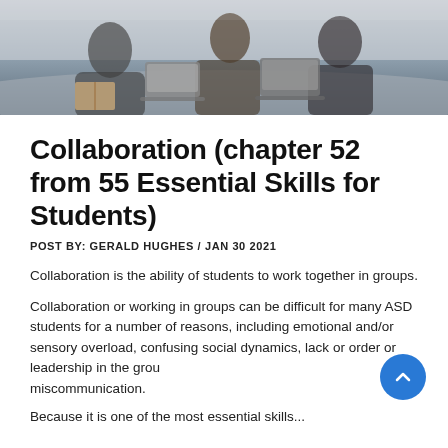[Figure (photo): Students sitting at a table working together with laptops and books, collaborative study session]
Collaboration (chapter 52 from 55 Essential Skills for Students)
POST BY: GERALD HUGHES / JAN 30 2021
Collaboration is the ability of students to work together in groups.
Collaboration or working in groups can be difficult for many ASD students for a number of reasons, including emotional and/or sensory overload, confusing social dynamics, lack or order or leadership in the group, and miscommunication.
Because it is one of the most essential skills...